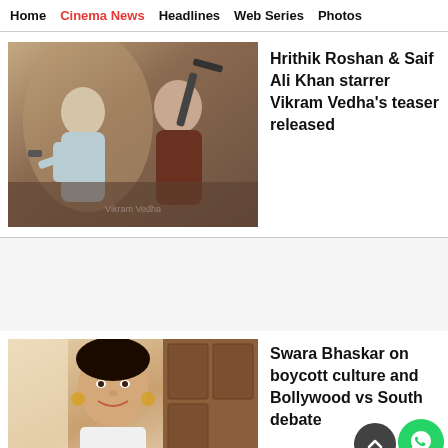Home | Cinema News | Headlines | Web Series | Photos
[Figure (photo): Hrithik Roshan and Saif Ali Khan from Vikram Vedha movie scene, action pose with weapons]
Hrithik Roshan & Saif Ali Khan starrer Vikram Vedha's teaser released
[Figure (photo): Swara Bhaskar smiling portrait photo]
Swara Bhaskar on boycott culture and Bollywood vs South debate